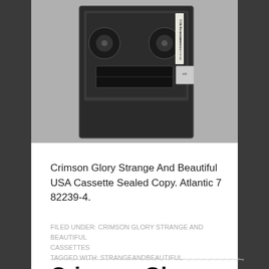[Figure (photo): A cassette tape in a plastic case showing the back/side label, Crimson Glory Strange And Beautiful, on a dark background]
Crimson Glory Strange And Beautiful USA Cassette Sealed Copy. Atlantic 7 82239-4.
FILED UNDER: CRIMSON GLORY STRANGE AND BEAUTIFUL CASSETTES
TAGGED WITH: STRANGEANDBEAUTIFUL
Crimson Glory Strange And Beautiful Poland